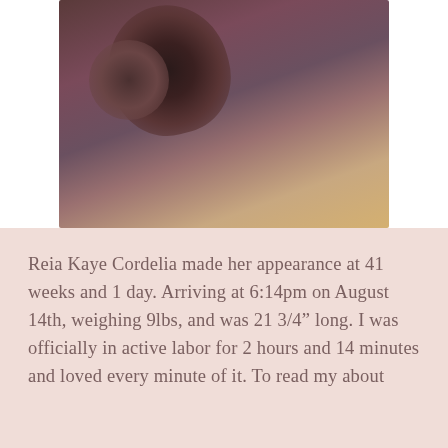[Figure (photo): Close-up photograph of a newborn baby's head with dark wet hair, being held, dark reddish-purple tones with warm golden background]
Reia Kaye Cordelia made her appearance at 41 weeks and 1 day. Arriving at 6:14pm on August 14th, weighing 9lbs, and was 21 3/4" long. I was officially in active labor for 2 hours and 14 minutes and loved every minute of it. To read my about